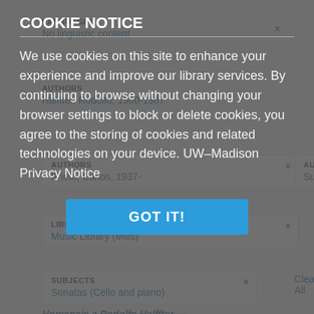LANGUAGES
No linguistic content
AUTHORS
Halffter, Rodolfo, 1900-1987
AUTHORS
Prieto, Carlos, 1937-
AUTHORS
Suárez, Jorge, 1944-
LIBRARIES
Music Library (Mills)
SUBJECTS
Sonatas (Cello and piano)
Clear All
COOKIE NOTICE
We use cookies on this site to enhance your experience and improve our library services. By continuing to browse without changing your browser settings to block or delete cookies, you agree to the storing of cookies and related technologies on your device. UW–Madison Privacy Notice
GOT IT!
Homenaje a Rodolfo Halffter —
1. Instrumental music. Selections
Physical  Save to Lists